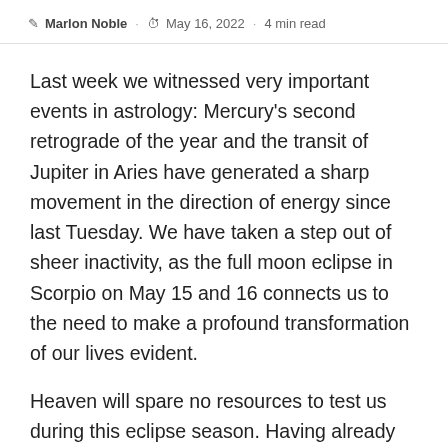Marlon Noble · May 16, 2022 · 4 min read
Last week we witnessed very important events in astrology: Mercury's second retrograde of the year and the transit of Jupiter in Aries have generated a sharp movement in the direction of energy since last Tuesday. We have taken a step out of sheer inactivity, as the full moon eclipse in Scorpio on May 15 and 16 connects us to the need to make a profound transformation of our lives evident.
Heaven will spare no resources to test us during this eclipse season. Having already gone through the eclipse in Taurus on April 30, the beginning of the will be marked by the second event of the season: the full moon in Scorpio, which we had during midnight